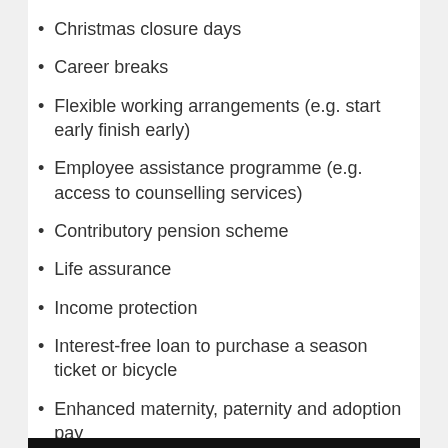Christmas closure days
Career breaks
Flexible working arrangements (e.g. start early finish early)
Employee assistance programme (e.g. access to counselling services)
Contributory pension scheme
Life assurance
Income protection
Interest-free loan to purchase a season ticket or bicycle
Enhanced maternity, paternity and adoption pay
Discounts on products